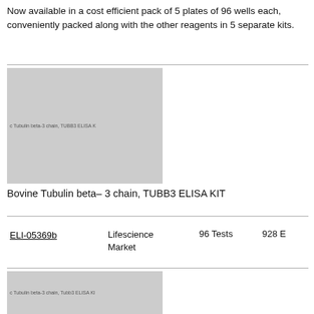Now available in a cost efficient pack of 5 plates of 96 wells each, conveniently packed along with the other reagents in 5 separate kits.
[Figure (photo): Product image for Bovine Tubulin beta-3 chain, TUBB3 ELISA KIT]
Bovine Tubulin beta- 3 chain, TUBB3 ELISA KIT
| Product ID | Supplier | Size | Price |
| --- | --- | --- | --- |
| ELI-05369b | Lifescience Market | 96 Tests | 928 E |
[Figure (photo): Product image for Mouse Tubulin beta-3 chain, Tubb3 ELISA KIT]
Mouse Tubulin beta- 3 chain, Tubb3 ELISA KIT
| Product ID | Supplier | Size | Price |
| --- | --- | --- | --- |
| ELI-05372m | Lifescience Market | 96 Tests | 865 E |